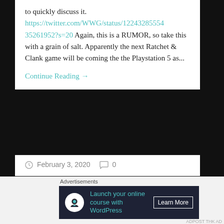to quickly discuss it. https://twitter.com/WWG/status/122432855543526 1952?s=20 Again, this is a RUMOR, so take this with a grain of salt. Apparently the next Ratchet & Clank game will be coming the the Playstation 5 as...
Continue Reading →
February 3, 2020   0
Rumor: Spider-Man PS4 Sequel Coming To PS5?!
[Figure (infographic): Advertisement banner: Launch your online course with WordPress - Learn More]
Advertisements